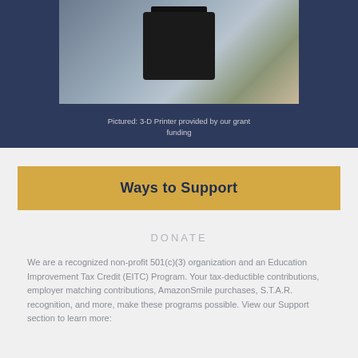[Figure (photo): Photo of a 3-D printer on a workbench in a lab/classroom setting, displayed against a dark navy blue background]
Pictured: 3-D Printer provided by our grant funding
Ways to Support
DONATE
We are a recognized non-profit 501(c)(3) organization and an Education Improvement Tax Credit (EITC) Program. Your tax-deductible contributions, employer matching contributions, AmazonSmile purchases, S.T.A.R. recognition, and more, make these programs possible. View our Support section to learn more: